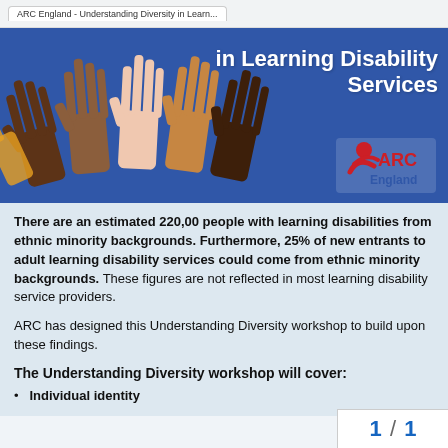ARC England - Understanding Diversity in Learn...
[Figure (illustration): Banner image showing multiple raised hands of diverse skin tones against a blue background, with text 'in Learning Disability Services' and ARC England logo]
There are an estimated 220,00 people with learning disabilities from ethnic minority backgrounds. Furthermore, 25% of new entrants to adult learning disability services could come from ethnic minority backgrounds. These figures are not reflected in most learning disability service providers.
ARC has designed this Understanding Diversity workshop to build upon these findings.
The Understanding Diversity workshop will cover:
Individual identity
1 / 1